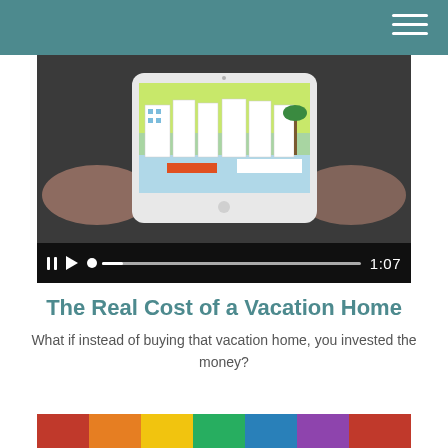[Figure (screenshot): Video player showing a tablet device with vacation home illustration. Controls show pause, play, scrubber, and timestamp 1:07]
The Real Cost of a Vacation Home
What if instead of buying that vacation home, you invested the money?
[Figure (photo): Partial bottom image showing colorful books or similar items]